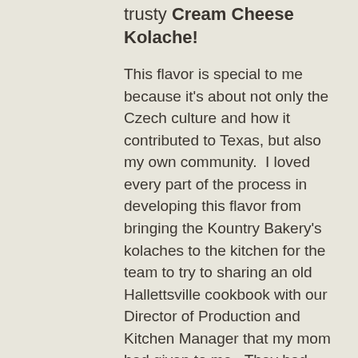trusty Cream Cheese Kolache!
This flavor is special to me because it's about not only the Czech culture and how it contributed to Texas, but also my own community.  I loved every part of the process in developing this flavor from bringing the Kountry Bakery's kolaches to the kitchen for the team to try to sharing an old Hallettsville cookbook with our Director of Production and Kitchen Manager that my mom had given to me.  They had never made kolaches before 2 months ago and I really think that they nailed it.  It's like there's a piece of my childhood and heritage in every bite!